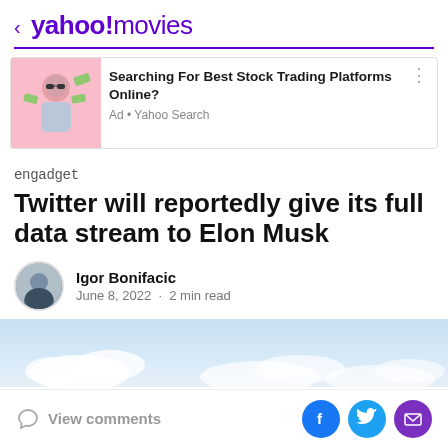< yahoo!movies
[Figure (screenshot): Ad block with image of man in sunglasses on pink background, titled 'Searching For Best Stock Trading Platforms Online?' with 'Ad • Yahoo Search' subtitle]
engadget
Twitter will reportedly give its full data stream to Elon Musk
Igor Bonifacic
June 8, 2022 · 2 min read
[Figure (photo): Sky and clouds banner image]
View comments
[Figure (infographic): Social share icons: Facebook (blue), Twitter (light blue), Mail (purple)]